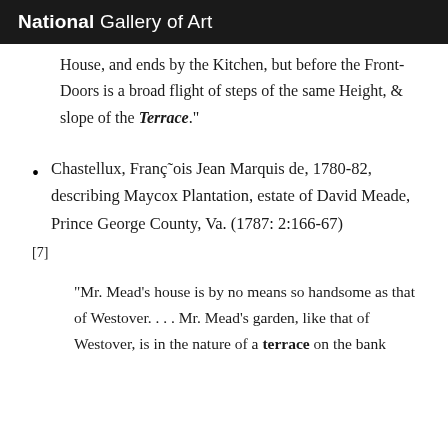National Gallery of Art
House, and ends by the Kitchen, but before the Front-Doors is a broad flight of steps of the same Height, & slope of the Terrace."
Chastellux, Françlois Jean Marquis de, 1780-82, describing Maycox Plantation, estate of David Meade, Prince George County, Va. (1787: 2:166-67)
[7]
"Mr. Mead's house is by no means so handsome as that of Westover. . . . Mr. Mead's garden, like that of Westover, is in the nature of a terrace on the bank